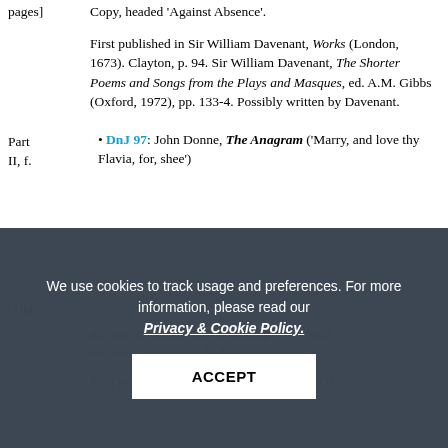pages]
Copy, headed 'Against Absence'.
First published in Sir William Davenant, Works (London, 1673). Clayton, p. 94. Sir William Davenant, The Shorter Poems and Songs from the Plays and Masques, ed. A.M. Gibbs (Oxford, 1972), pp. 133-4. Possibly written by Davenant.
• DnJ 97: John Donne, The Anagram ('Marry, and love thy Flavia, for, shee')
[180r. ... upon ye account of beauty, and beginning 'Love built on beauty, ... ly dies.
First published as 'Elegie II' in Poems (1633).
We use cookies to track usage and preferences. For more information, please read our Privacy & Cookie Policy.
ACCEPT